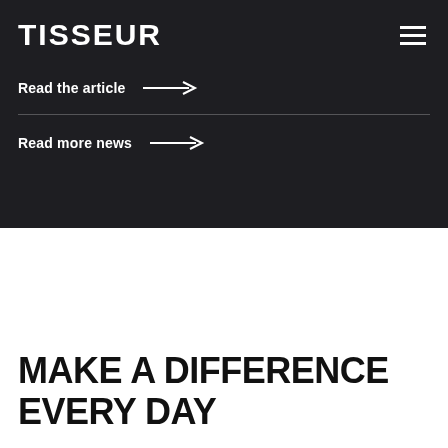TISSEUR
Read the article →
Read more news →
MAKE A DIFFERENCE EVERY DAY